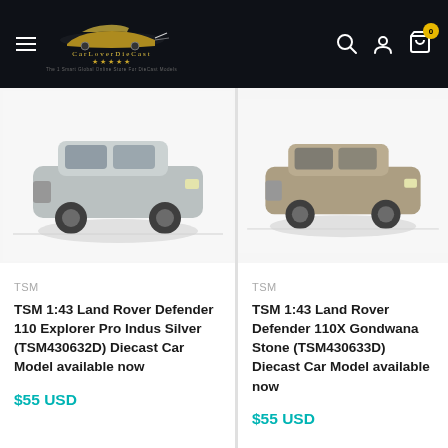[Figure (logo): CarLoverDieCast website logo with car silhouette, gold stars, and tagline on dark header background]
[Figure (photo): TSM 1:43 Land Rover Defender 110 Explorer Pro Indus Silver diecast car model product photo on white background]
TSM
TSM 1:43 Land Rover Defender 110 Explorer Pro Indus Silver (TSM430632D) Diecast Car Model available now
$55 USD
[Figure (photo): TSM 1:43 Land Rover Defender 110X Gondwana Stone diecast car model product photo on white background (partially visible)]
TSM
TSM 1:43 Land Rover Defender 110X Gondwana Stone (TSM430633D) Diecast Car Model available now
$55 USD